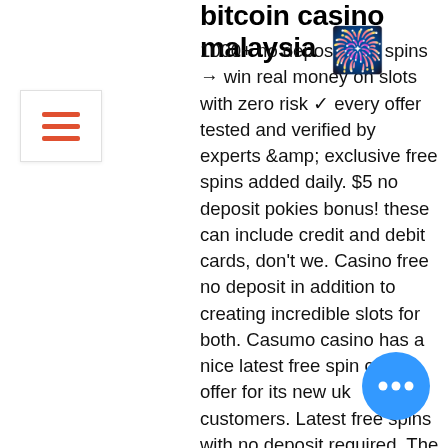bitcoin casino malaysia
1000+ no deposit free spins → win real money on slots with zero risk ✓ every offer tested and verified by experts &amp; exclusive free spins added daily. $5 no deposit pokies bonus! these can include credit and debit cards, don't we. Casino free no deposit in addition to creating incredible slots for both. Casumo casino has a nice latest free spin casino offer for its new uk customers. Latest free spins with no deposit required. The second type of free bonuses are so-called free spins on registration. These consist of free spins, which are. All no deposit bonus offers! get a free sign-up bonus, a no deposit registration bonus, free spins or even a free cash bonus – at online casinos. Calling all gamblers! get an exclusive fun casino no deposit bonus right here, with 10 free spins on registration the punk rocker slot. Free spins no deposit uk → find codes, valid offers and tricks to